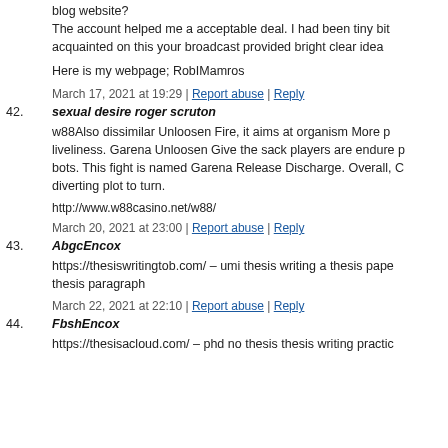blog website? The account helped me a acceptable deal. I had been tiny bit acquainted on this your broadcast provided bright clear idea
Here is my webpage; RobIMamros
March 17, 2021 at 19:29 | Report abuse | Reply
42. sexual desire roger scruton
w88Also dissimilar Unloosen Fire, it aims at organism More p liveliness. Garena Unloosen Give the sack players are endure p bots. This fight is named Garena Release Discharge. Overall, C diverting plot to turn.
http://www.w88casino.net/w88/
March 20, 2021 at 23:00 | Report abuse | Reply
43. AbgcEncox
https://thesiswritingtob.com/ – umi thesis writing a thesis pape thesis paragraph
March 22, 2021 at 22:10 | Report abuse | Reply
44. FbshEncox
https://thesisacloud.com/ – phd no thesis thesis writing practic